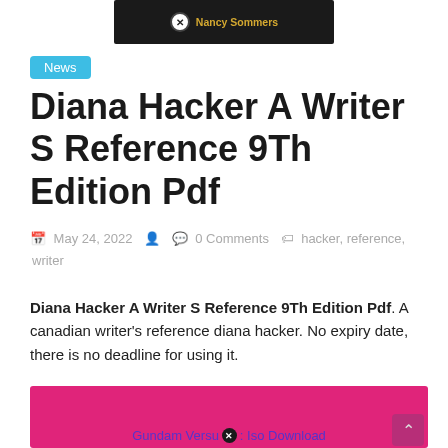[Figure (screenshot): Dark banner image showing a close/X button and 'Nancy Sommers' text in gold on a black background]
News
Diana Hacker A Writer S Reference 9Th Edition Pdf
May 24, 2022   0 Comments   hacker, reference, writer
Diana Hacker A Writer S Reference 9Th Edition Pdf. A canadian writer's reference diana hacker. No expiry date, there is no deadline for using it.
[Figure (screenshot): Hot pink/magenta banner with 'Gundam Versus Iso Download' link text in purple and a close/X button, with a scroll-to-top arrow in the bottom right]